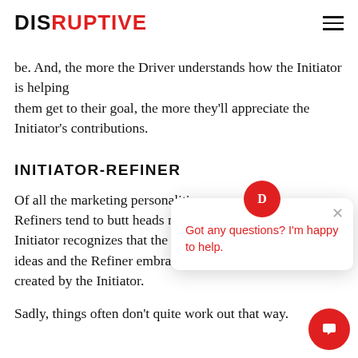DISRUPTIVE
be. And, the more the Driver understands how the Initiator is helping them get to their goal, the more they'll appreciate the Initiator's contributions.
INITIATOR-REFINER
Of all the marketing per... Refiners tend to butt he... Initiator recognizes that ideas and the Refiner embraces the new opportunities created by the Initiator.
Sadly, things often don't quite work out that way.